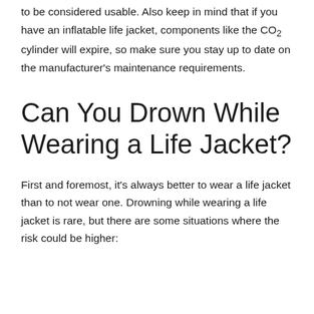to be considered usable. Also keep in mind that if you have an inflatable life jacket, components like the CO₂ cylinder will expire, so make sure you stay up to date on the manufacturer's maintenance requirements.
Can You Drown While Wearing a Life Jacket?
First and foremost, it's always better to wear a life jacket than to not wear one. Drowning while wearing a life jacket is rare, but there are some situations where the risk could be higher: